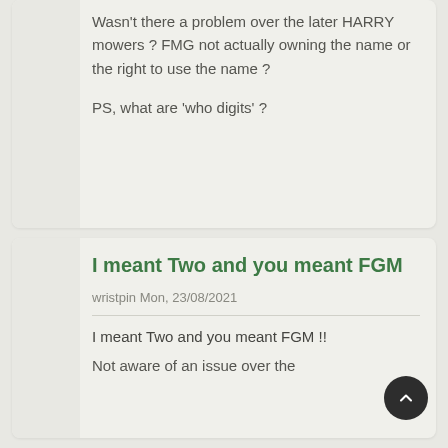Wasn't there a problem over the later HARRY mowers ? FMG not actually owning the name or the right to use the name ?

PS, what are 'who digits' ?
I meant Two and you meant FGM
wristpin Mon, 23/08/2021
I meant Two and you meant FGM !!
Not aware of an issue over the